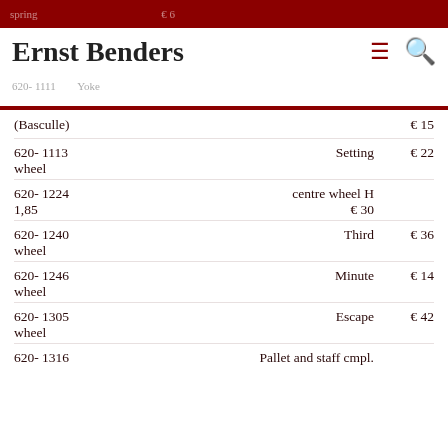Ernst Benders
(Basculle) € 15
620- 1113  Setting wheel  € 22
620- 1224  centre wheel H 1,85  € 30
620- 1240  Third wheel  € 36
620- 1246  Minute wheel  € 14
620- 1305  Escape wheel  € 42
620- 1316  Pallet and staff cmpl.